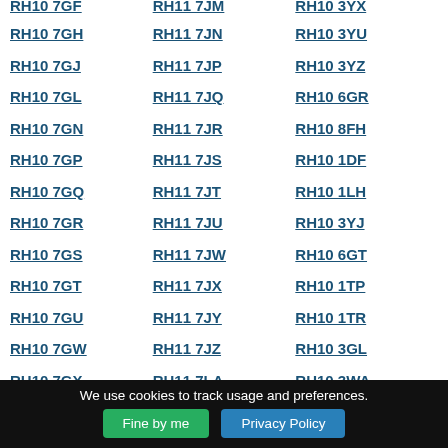RH10 7GH
RH11 7JN
RH10 3YU
RH10 7GJ
RH11 7JP
RH10 3YZ
RH10 7GL
RH11 7JQ
RH10 6GR
RH10 7GN
RH11 7JR
RH10 8FH
RH10 7GP
RH11 7JS
RH10 1DF
RH10 7GQ
RH11 7JT
RH10 1LH
RH10 7GR
RH11 7JU
RH10 3YJ
RH10 7GS
RH11 7JW
RH10 6GT
RH10 7GT
RH11 7JX
RH10 1TP
RH10 7GU
RH11 7JY
RH10 1TR
RH10 7GW
RH11 7JZ
RH10 3GL
RH10 7GX
RH11 7LA
RH10 3WA
We use cookies to track usage and preferences.
Fine by me
Privacy Policy